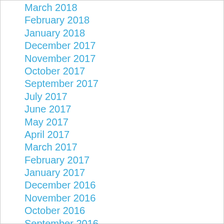March 2018
February 2018
January 2018
December 2017
November 2017
October 2017
September 2017
July 2017
June 2017
May 2017
April 2017
March 2017
February 2017
January 2017
December 2016
November 2016
October 2016
September 2016
July 2016
June 2016
May 2016
April 2016